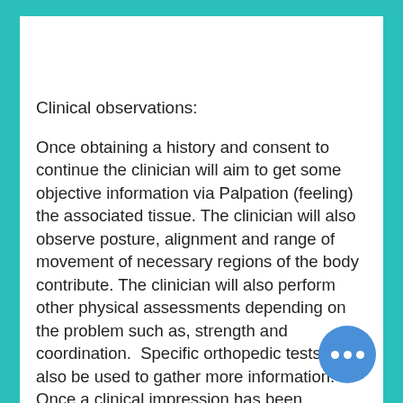Clinical observations:
Once obtaining a history and consent to continue the clinician will aim to get some objective information via Palpation (feeling) the associated tissue. The clinician will also observe posture, alignment and range of movement of necessary regions of the body contribute. The clinician will also perform other physical assessments depending on the problem such as, strength and coordination.  Specific orthopedic tests may also be used to gather more information. Once a clinical impression has been determined about the presenting complaint the clinician will develop a treatment plan and explain what is involved and how many